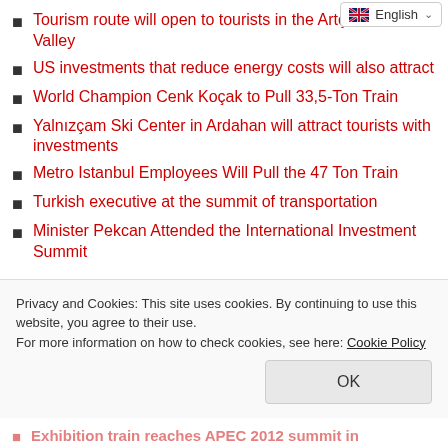[Figure (screenshot): Language selector dropdown showing English with flag icon]
Tourism route will open to tourists in the Artçam Tourism Valley
US investments that reduce energy costs will also attract
World Champion Cenk Koçak to Pull 33,5-Ton Train
Yalnızçam Ski Center in Ardahan will attract tourists with investments
Metro Istanbul Employees Will Pull the 47 Ton Train
Turkish executive at the summit of transportation
Minister Pekcan Attended the International Investment Summit
Privacy and Cookies: This site uses cookies. By continuing to use this website, you agree to their use. For more information on how to check cookies, see here: Cookie Policy
Exhibition train reaches APEC 2012 summit in